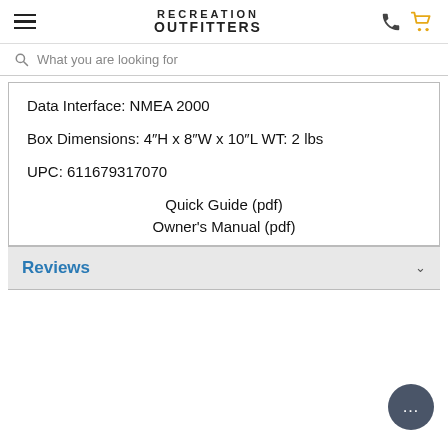RECREATION OUTFITTERS
What you are looking for
Data Interface: NMEA 2000
Box Dimensions: 4”H x 8”W x 10”L WT: 2 lbs
UPC: 611679317070
Quick Guide (pdf)
Owner's Manual (pdf)
Reviews